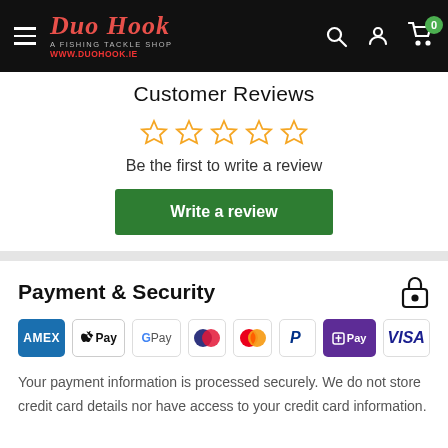Duo Hook - A Fishing Tackle Shop - www.duohook.ie
Customer Reviews
Be the first to write a review
Write a review
Payment & Security
[Figure (logo): Payment method logos: American Express, Apple Pay, Google Pay, Maestro, Mastercard, PayPal, Shop Pay, Visa]
Your payment information is processed securely. We do not store credit card details nor have access to your credit card information.